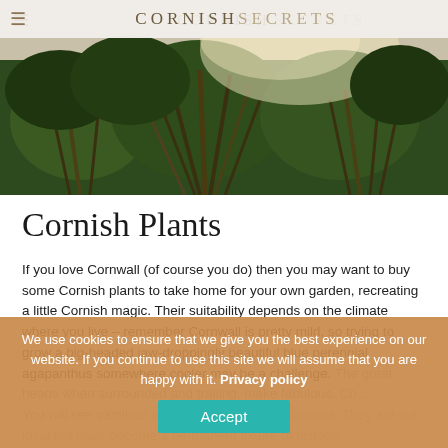CORNISH SECRETS
[Figure (photo): A lush garden scene with tropical plants, dark green foliage, spiky grass/phormium plants, and warm sunlight filtering through.]
Cornish Plants
If you love Cornwall (of course you do) then you may want to buy some Cornish plants to take home for your own garden, recreating a little Cornish magic. Their suitability depends on the climate where you live – remember Cornwall is pretty mild, so trying to grow a big-headed jaw-droppingly beautiful blue perennial agapanthus somewhere cooler may be a challenge. They could be at home, surrounded and trailing, make fabulous. Cm... You will see camellias in virtually all parts of Cornwall. They are not local but have become a permanent fixture of historic houses/gardens, due to their ability to thrive in the mild climate.
We use cookies to ensure that we give you the best experience on our website. If you continue to use this site we will assume that you are happy with it. Privacy policy